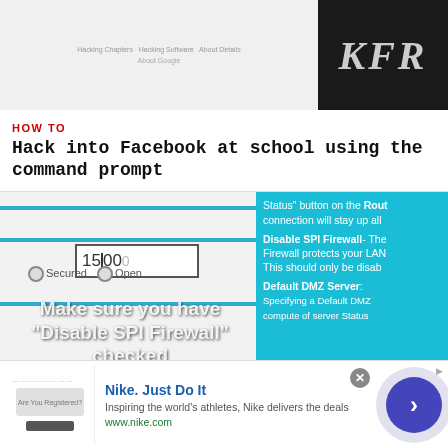[Figure (screenshot): Top partial screenshot showing a book/article page with text content and a dark image with letters KFR]
HOW TO
Hack into Facebook at school using the command prompt
[Figure (screenshot): Screenshot of router settings page showing a field with '1500', radio buttons for Secured and Open, and blue panel with text about Disable SPI Firewall and Default DMZ Server. Overlay text: Make sure you have "Disable SPI Firewall" checked]
HOW TO
Change your NAT settings to OPEN using Netgear router
[Figure (infographic): Nike advertisement banner: Nike. Just Do It. Inspiring the world's athletes, Nike delivers the deals. www.nike.com]